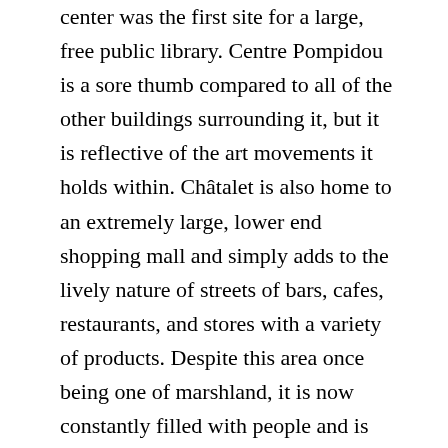center was the first site for a large, free public library. Centre Pompidou is a sore thumb compared to all of the other buildings surrounding it, but it is reflective of the art movements it holds within. Châtalet is also home to an extremely large, lower end shopping mall and simply adds to the lively nature of streets of bars, cafes, restaurants, and stores with a variety of products. Despite this area once being one of marshland, it is now constantly filled with people and is often a great site to celebrate big victories before the traditional Champs Elysse. On the night of the Algerian soccer win, the streets in Châtalet erupted into a happy chaos with people running, shouting, and chanting. This is an area that is meant to draw people together to